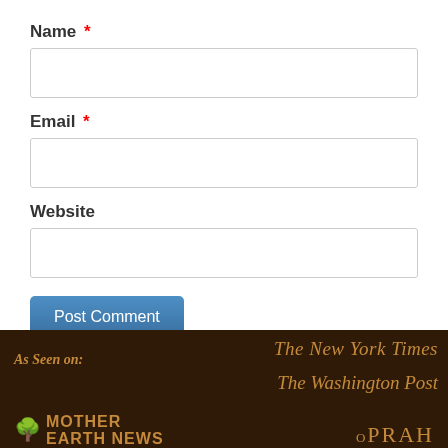Name *
[Figure (other): Empty text input field for Name]
Email *
[Figure (other): Empty text input field for Email]
Website
[Figure (other): Empty text input field for Website]
Post Comment
As Seen on:
[Figure (logo): The New York Times logo in brown/gold color]
[Figure (logo): The Washington Post logo in brown/gold color]
[Figure (logo): Mother Earth News logo in brown/gold color]
[Figure (logo): Oprah logo in brown/gold color]